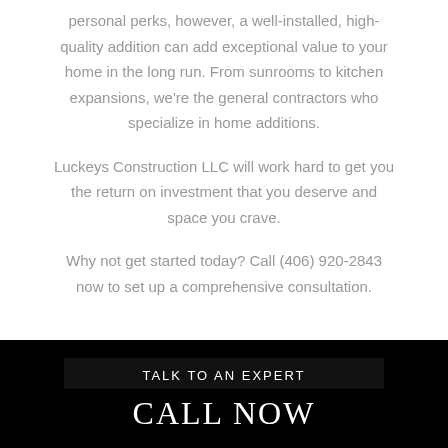personal perks, however, a well-installed, high-quality addition can add exceptional value to your home in the long run. From sunrooms to kitchen expansions, we're the general contractors who specialize in home additions.
Luckeys Construction LLC will work hard to get you the return on investment that you deserve and space you crave.
Why not get started today? Call (406) 920-2843 now to set up a comprehensive consultation.
TALK TO AN EXPERT
CALL NOW